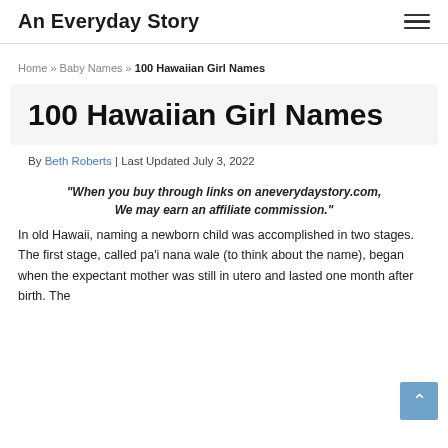An Everyday Story
Home » Baby Names » 100 Hawaiian Girl Names
100 Hawaiian Girl Names
By Beth Roberts | Last Updated July 3, 2022
"When you buy through links on aneverydaystory.com, We may earn an affiliate commission."
In old Hawaii, naming a newborn child was accomplished in two stages. The first stage, called pa'i nana wale (to think about the name), began when the expectant mother was still in utero and lasted one month after birth. The